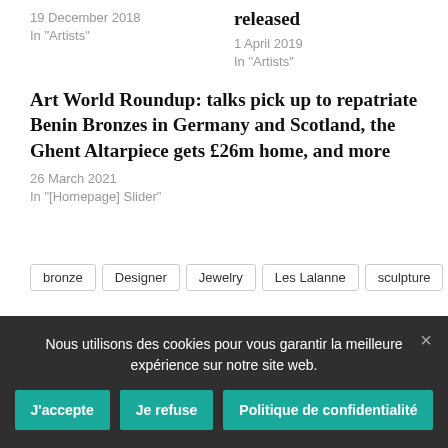19 December 2018
In "Artists"
released
1 April 2019
In "Artists"
Art World Roundup: talks pick up to repatriate Benin Bronzes in Germany and Scotland, the Ghent Altarpiece gets £26m home, and more
26 March 2021
In "[Homepage] Slider"
bronze  Designer  Jewelry  Les Lalanne  sculpture  Yves
Nous utilisons des cookies pour vous garantir la meilleure expérience sur notre site web.
J'accepte  Je refuse  Politique de confidentialité